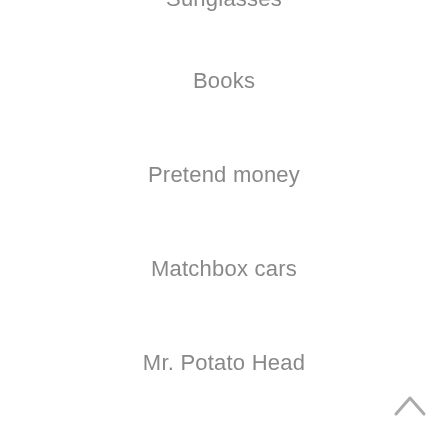Sunglasses
Books
Pretend money
Matchbox cars
Mr. Potato Head
Small Lego kits
Toy jewelry